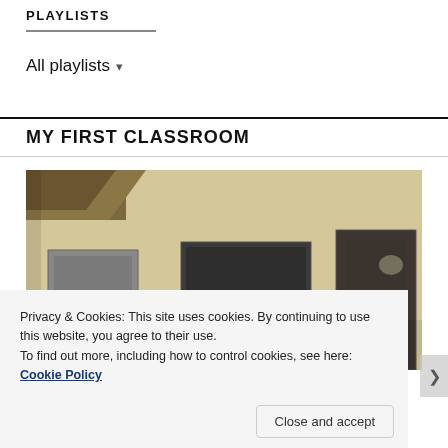PLAYLISTS
All playlists ▾
MY FIRST CLASSROOM
[Figure (photo): Interior of a basic classroom with pale yellow walls, a thatched roof visible in the upper left corner, and three dark-colored boards (chalkboards and a door) mounted on the wall.]
Privacy & Cookies: This site uses cookies. By continuing to use this website, you agree to their use.
To find out more, including how to control cookies, see here: Cookie Policy